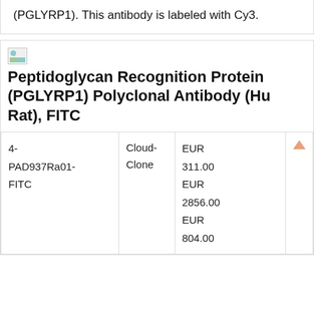(PGLYRP1). This antibody is labeled with Cy3.
[Figure (photo): Small broken image placeholder icon]
Peptidoglycan Recognition Protein (PGLYRP1) Polyclonal Antibody (Human, Rat), FITC
| SKU | Brand | Price |  |
| --- | --- | --- | --- |
| 4-PAD937Ra01-FITC | Cloud-Clone | EUR 311.00
EUR 2856.00
EUR 804.00 |  |